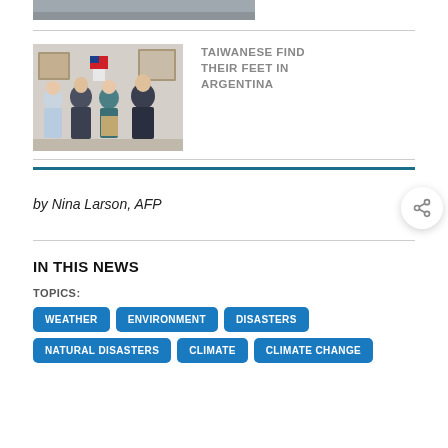[Figure (photo): Cropped top portion of an image, appears to be a road or surface, gray tones]
[Figure (photo): Four people standing together in an office or room, one wearing a blue outfit, Taiwanese flag visible in background]
TAIWANESE FIND THEIR FEET IN ARGENTINA
by Nina Larson, AFP
IN THIS NEWS
TOPICS:
WEATHER
ENVIRONMENT
DISASTERS
NATURAL DISASTERS
CLIMATE
CLIMATE CHANGE